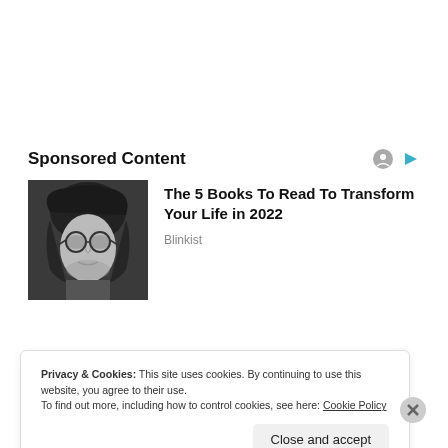Sponsored Content
The 5 Books To Read To Transform Your Life in 2022
Blinkist
[Figure (photo): Black and white portrait photo of a young man with round glasses and long hair]
Privacy & Cookies: This site uses cookies. By continuing to use this website, you agree to their use.
To find out more, including how to control cookies, see here: Cookie Policy
Close and accept